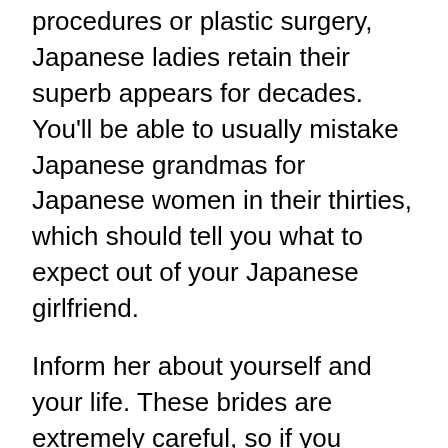procedures or plastic surgery, Japanese ladies retain their superb appears for decades. You'll be able to usually mistake Japanese grandmas for Japanese women in their thirties, which should tell you what to expect out of your Japanese girlfriend.
Inform her about yourself and your life. These brides are extremely careful, so if you happen to talk about yourself, they may feel confident and will do the same. This will be an indication for them that you have nothing to cover and you’re an sincere particular person with good intentions.
When you suppose that Asian ladies are too particular, then almost certainly that is just a matter of unusual appearance, which you are not used to. In fact, they are the same women like